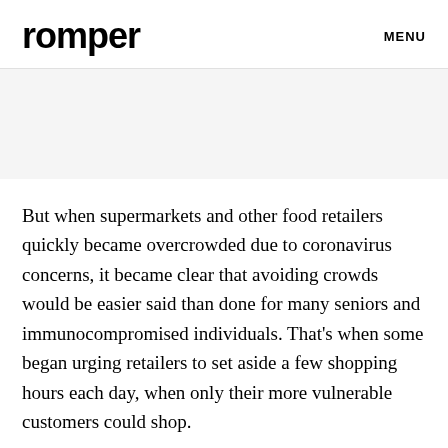romper   MENU
But when supermarkets and other food retailers quickly became overcrowded due to coronavirus concerns, it became clear that avoiding crowds would be easier said than done for many seniors and immunocompromised individuals. That's when some began urging retailers to set aside a few shopping hours each day, when only their more vulnerable customers could shop.